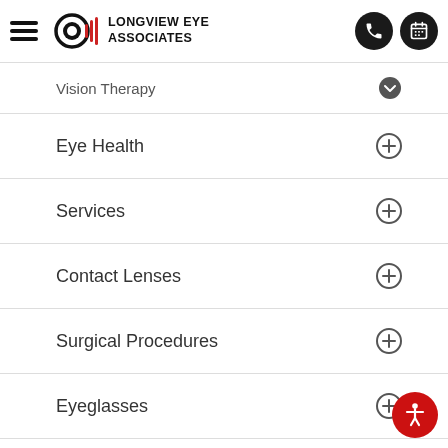[Figure (logo): Longview Eye Associates logo with stylized eye and sound wave icon]
Vision Therapy
Eye Health
Services
Contact Lenses
Surgical Procedures
Eyeglasses
Ocular Disease Management